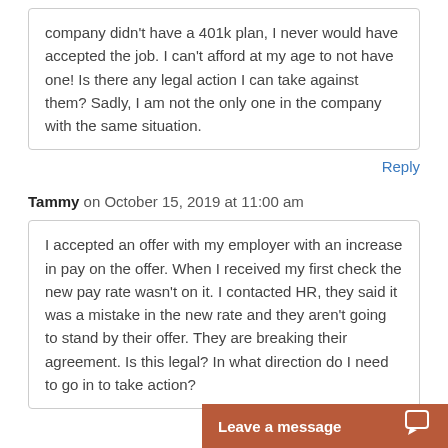company didn't have a 401k plan, I never would have accepted the job. I can't afford at my age to not have one! Is there any legal action I can take against them? Sadly, I am not the only one in the company with the same situation.
Reply
Tammy on October 15, 2019 at 11:00 am
I accepted an offer with my employer with an increase in pay on the offer. When I received my first check the new pay rate wasn't on it. I contacted HR, they said it was a mistake in the new rate and they aren't going to stand by their offer. They are breaking their agreement. Is this legal? In what direction do I need to go in to take action?
Reply
emily on April 17, 2018
Leave a message